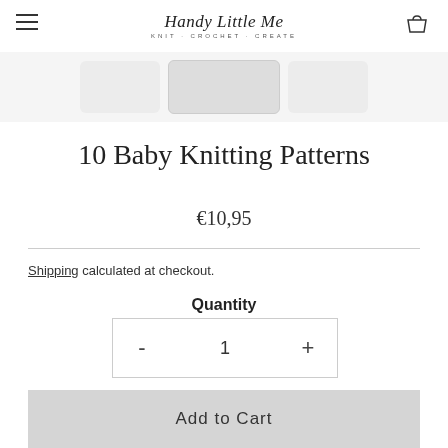Handy Little Me — KNIT · CROCHET · CREATE
[Figure (screenshot): Product image thumbnail strip showing knitting pattern book thumbnails]
10 Baby Knitting Patterns
€10,95
Shipping calculated at checkout.
Quantity
- 1 +
Add to Cart